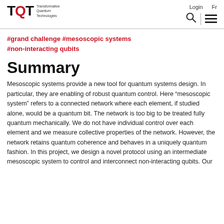TQT Transformative Quantum Technologies | Login | Fr
#grand challenge #mesoscopic systems #non-interacting qubits
Summary
Mesoscopic systems provide a new tool for quantum systems design. In particular, they are enabling of robust quantum control. Here “mesoscopic system” refers to a connected network where each element, if studied alone, would be a quantum bit. The network is too big to be treated fully quantum mechanically. We do not have individual control over each element and we measure collective properties of the network. However, the network retains quantum coherence and behaves in a uniquely quantum fashion. In this project, we design a novel protocol using an intermediate mesoscopic system to control and interconnect non-interacting qubits. Our